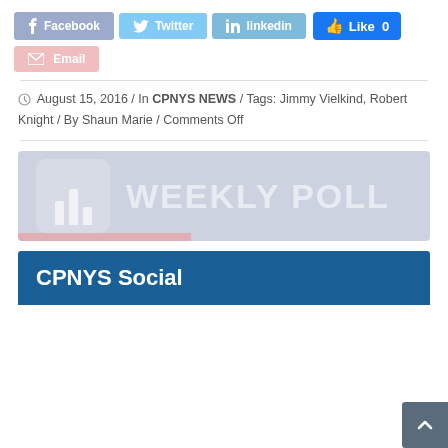[Figure (screenshot): Social sharing buttons: Facebook, Twitter, LinkedIn, Email, and a Facebook Like button showing 0 likes]
August 15, 2016 / In CPNYS NEWS / Tags: Jimmy Vielkind, Robert Knight / By Shaun Marie / Comments Off
[Figure (screenshot): Weekly Poll banner image with bar chart icon and text WEEKLY POLL on light blue/grey background]
CPNYS Social